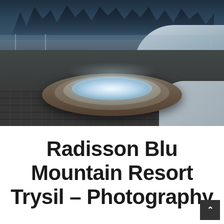[Figure (photo): Outdoor circular hot tub / jacuzzi with bubbling water, surrounded by a multi-tiered stone platform with tile cladding. Glass fence enclosure in background with snow-covered landscape and pine trees in a winter mountain resort setting. Steam rising from the warm water.]
Radisson Blu Mountain Resort Trysil – Photography